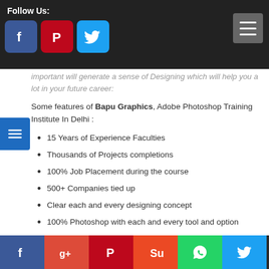Follow Us:
important will generate a sense of Designing which will help you a lot in your future career:
Some features of Bapu Graphics, Adobe Photoshop Training Institute In Delhi :
15 Years of Experience Faculties
Thousands of Projects completions
100% Job Placement during the course
500+ Companies tied up
Clear each and every designing concept
100% Photoshop with each and every tool and option
80 Different categories of Projects
Adobe Photoshop is a Digital Artist tool best for design and is nowadays helpful to all, whether you are in any profession. gn, So Photoshop is the artists learn to create paintings,